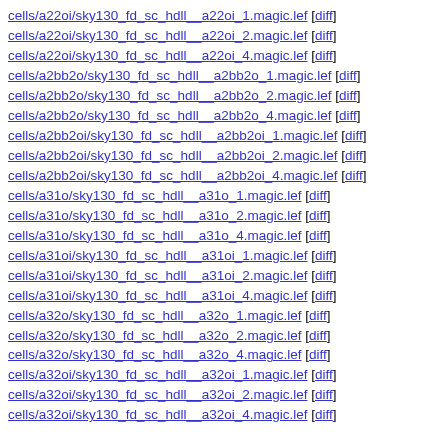cells/a22oi/sky130_fd_sc_hdll__a22oi_1.magic.lef [diff]
cells/a22oi/sky130_fd_sc_hdll__a22oi_2.magic.lef [diff]
cells/a22oi/sky130_fd_sc_hdll__a22oi_4.magic.lef [diff]
cells/a2bb2o/sky130_fd_sc_hdll__a2bb2o_1.magic.lef [diff]
cells/a2bb2o/sky130_fd_sc_hdll__a2bb2o_2.magic.lef [diff]
cells/a2bb2o/sky130_fd_sc_hdll__a2bb2o_4.magic.lef [diff]
cells/a2bb2oi/sky130_fd_sc_hdll__a2bb2oi_1.magic.lef [diff]
cells/a2bb2oi/sky130_fd_sc_hdll__a2bb2oi_2.magic.lef [diff]
cells/a2bb2oi/sky130_fd_sc_hdll__a2bb2oi_4.magic.lef [diff]
cells/a31o/sky130_fd_sc_hdll__a31o_1.magic.lef [diff]
cells/a31o/sky130_fd_sc_hdll__a31o_2.magic.lef [diff]
cells/a31o/sky130_fd_sc_hdll__a31o_4.magic.lef [diff]
cells/a31oi/sky130_fd_sc_hdll__a31oi_1.magic.lef [diff]
cells/a31oi/sky130_fd_sc_hdll__a31oi_2.magic.lef [diff]
cells/a31oi/sky130_fd_sc_hdll__a31oi_4.magic.lef [diff]
cells/a32o/sky130_fd_sc_hdll__a32o_1.magic.lef [diff]
cells/a32o/sky130_fd_sc_hdll__a32o_2.magic.lef [diff]
cells/a32o/sky130_fd_sc_hdll__a32o_4.magic.lef [diff]
cells/a32oi/sky130_fd_sc_hdll__a32oi_1.magic.lef [diff]
cells/a32oi/sky130_fd_sc_hdll__a32oi_2.magic.lef [diff]
cells/a32oi/sky130_fd_sc_hdll__a32oi_4.magic.lef [diff]